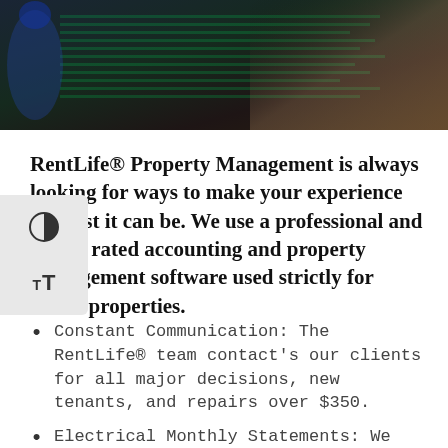[Figure (photo): Dark background photo showing a hand and laboratory/financial data screen with green tinted data rows]
RentLife® Property Management is always looking for ways to make your experience the best it can be. We use a professional and highly rated accounting and property management software used strictly for rental properties.
Constant Communication: The RentLife® team contact's our clients for all major decisions, new tenants, and repairs over $350.
Electrical Monthly Statements: We